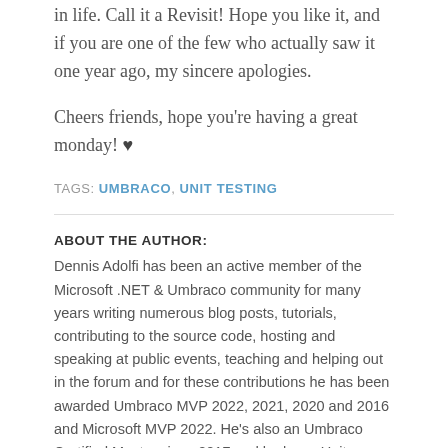in life. Call it a Revisit! Hope you like it, and if you are one of the few who actually saw it one year ago, my sincere apologies.
Cheers friends, hope you're having a great monday! ♥
TAGS: UMBRACO, UNIT TESTING
ABOUT THE AUTHOR:
Dennis Adolfi has been an active member of the Microsoft .NET & Umbraco community for many years writing numerous blog posts, tutorials, contributing to the source code, hosting and speaking at public events, teaching and helping out in the forum and for these contributions he has been awarded Umbraco MVP 2022, 2021, 2020 and 2016 and Microsoft MVP 2022. He's also an Umbraco Certified Master since 2017 and he loves Unit Testing almost as much as